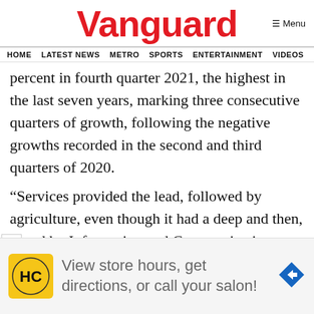Vanguard
HOME  LATEST NEWS  METRO  SPORTS  ENTERTAINMENT  VIDEOS
percent in fourth quarter 2021, the highest in the last seven years, marking three consecutive quarters of growth, following the negative growths recorded in the second and third quarters of 2020.
“Services provided the lead, followed by agriculture, even though it had a deep and then,
red by Information and Communication
[Figure (other): Advertisement banner: HC logo, text 'View store hours, get directions, or call your salon!' with navigation arrow icon]